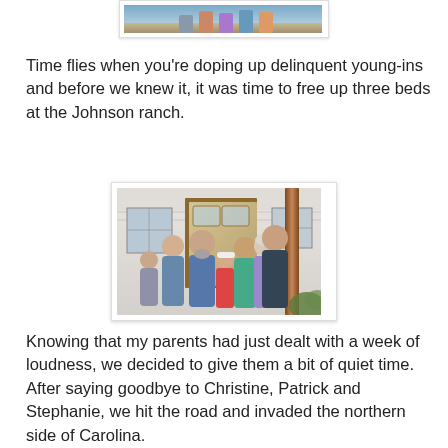[Figure (photo): Partial photo at top of page showing people, cropped]
Time flies when you're doping up delinquent young-ins and before we knew it, it was time to free up three beds at the Johnson ranch.
[Figure (photo): Group photo of family standing in front of a house door, including adults and children]
Knowing that my parents had just dealt with a week of loudness, we decided to give them a bit of quiet time. After saying goodbye to Christine, Patrick and Stephanie, we hit the road and invaded the northern side of Carolina.